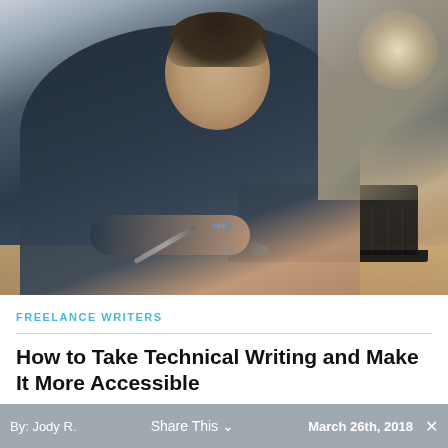[Figure (photo): Man in dark suit and bow tie writing with a pen while also typing on a laptop keyboard, seated at a desk]
FREELANCE WRITERS
How to Take Technical Writing and Make It More Accessible
By: Jody R.   Share This ∨   March 26th, 2018  ×